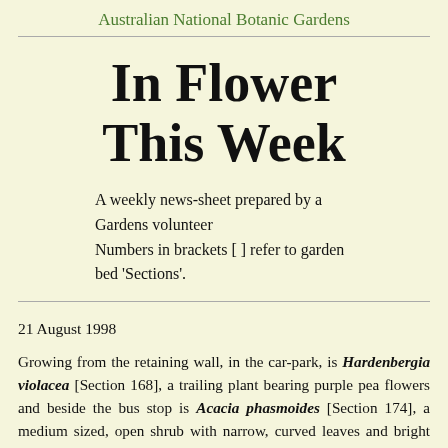Australian National Botanic Gardens
In Flower This Week
A weekly news-sheet prepared by a Gardens volunteer
Numbers in brackets [ ] refer to garden bed 'Sections'.
21 August 1998
Growing from the retaining wall, in the car-park, is Hardenbergia violacea [Section 168], a trailing plant bearing purple pea flowers and beside the bus stop is Acacia phasmoides [Section 174], a medium sized, open shrub with narrow, curved leaves and bright yellow rod-shaped flower heads. The arrangement of pots outside the doors of the Visitor Centre includes a dwarf banksia, Banksia spinulosa 'Birthday Candles' with...